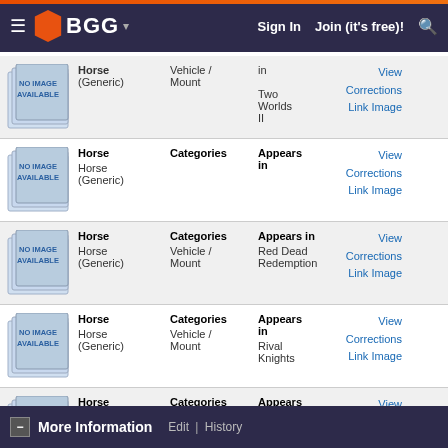BGG Navigation - Sign In, Join (it's free)!
| Image | Name | Categories | Appears in | Actions |
| --- | --- | --- | --- | --- |
| NO IMAGE AVAILABLE | Horse
(Generic) | Vehicle / Mount | Two Worlds II | View Corrections
Link Image |
| NO IMAGE AVAILABLE | Horse
(Generic) | Categories | Appears in | View Corrections
Link Image |
| NO IMAGE AVAILABLE | Horse
(Generic) | Vehicle / Mount | Red Dead Redemption | View Corrections
Link Image |
| NO IMAGE AVAILABLE | Horse
(Generic) | Vehicle / Mount | Rival Knights | View Corrections
Link Image |
| NO IMAGE AVAILABLE | Horse
(Generic) | Vehicle / Mount | Assassin's Creed | View Corrections
Link Image |
More Information  Edit | History